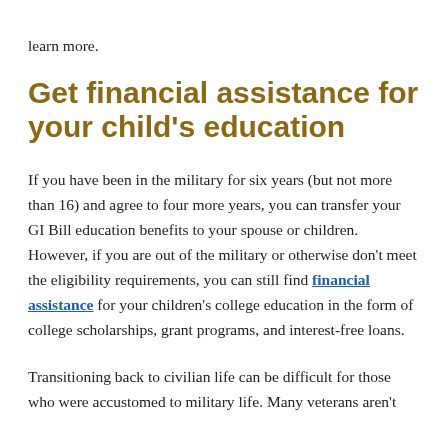learn more.
Get financial assistance for your child's education
If you have been in the military for six years (but not more than 16) and agree to four more years, you can transfer your GI Bill education benefits to your spouse or children. However, if you are out of the military or otherwise don't meet the eligibility requirements, you can still find financial assistance for your children's college education in the form of college scholarships, grant programs, and interest-free loans.
Transitioning back to civilian life can be difficult for those who were accustomed to military life. Many veterans aren't